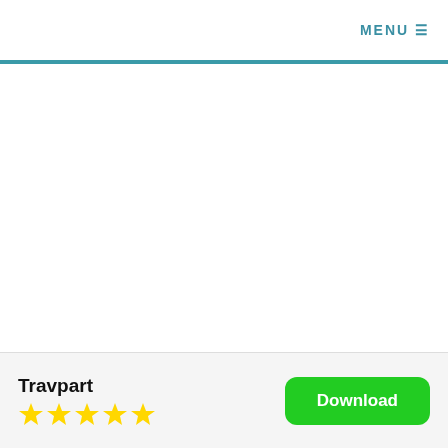MENU ☰
Travpart
[Figure (other): Five gold star rating icons]
Download